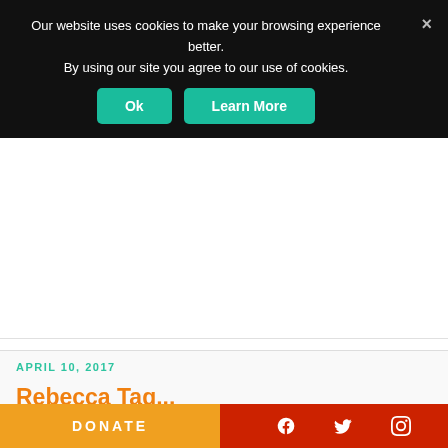Our website uses cookies to make your browsing experience better. By using our site you agree to our use of cookies.
Ok  Learn More
APRIL 10, 2017
Rebecca Tag...
DONATE